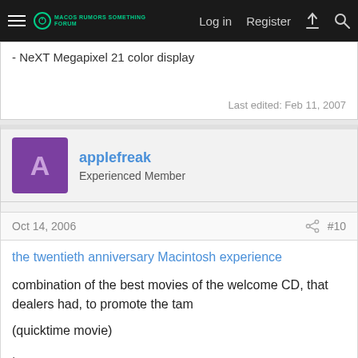Log in  Register
- NeXT Megapixel 21 color display
Last edited: Feb 11, 2007
applefreak
Experienced Member
Oct 14, 2006  #10
the twentieth anniversary Macintosh experience
combination of the best movies of the welcome CD, that dealers had, to promote the tam

(quicktime movie)

.
applefreak